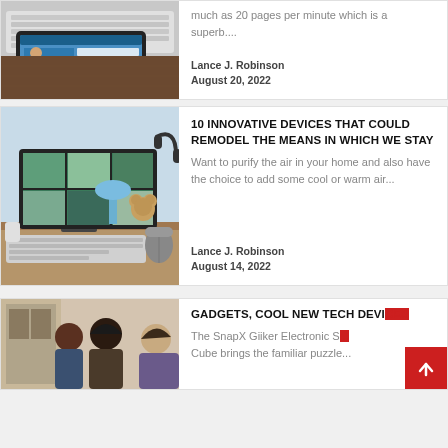[Figure (photo): Tablet and keyboard on a desk, tech/website screenshot visible on tablet]
much as 20 pages per minute which is a superb....
Lance J. Robinson
August 20, 2022
[Figure (photo): Home office desk setup with monitor showing photo grid, keyboard, blue lamp, teddy bear, headphones]
10 INNOVATIVE DEVICES THAT COULD REMODEL THE MEANS IN WHICH WE STAY
Want to purify the air in your home and also have the choice to add some cool or warm air...
Lance J. Robinson
August 14, 2022
[Figure (photo): People in a room, partial view, bottom card]
GADGETS, COOL NEW TECH DEVICES
The SnapX Giiker Electronic S... Cube brings the familiar puzzle...